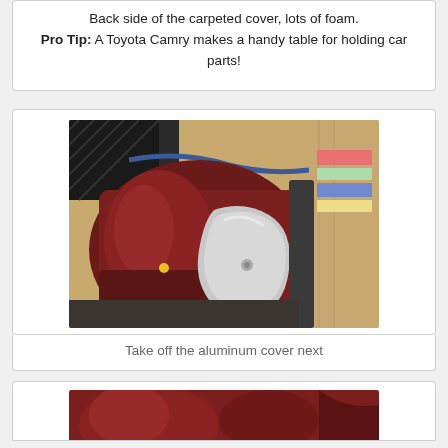Back side of the carpeted cover, lots of foam.
Pro Tip: A Toyota Camry makes a handy table for holding car parts!
[Figure (photo): Interior of a car showing a dark maroon/wine-colored panel or subwoofer housing with an aluminum/silver cover partially removed, tan leather seats visible in background along with other car interior components.]
Take off the aluminum cover next
[Figure (photo): Close-up of a dark maroon/wine-colored car interior component, partially visible at bottom of page.]